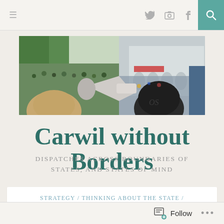≡  🐦 📷 f 🔍
[Figure (photo): Wide angle photograph of a large crowd at a public demonstration or rally, with trees on the left and a colonnaded building visible on the right. In the foreground are people with a megaphone and a dark hat.]
Carwil without Borders
DISPATCHES ACROSS BOUNDARIES OF STATES, AND STATES OF MIND
STRATEGY / THINKING ABOUT THE STATE /
Follow  •••